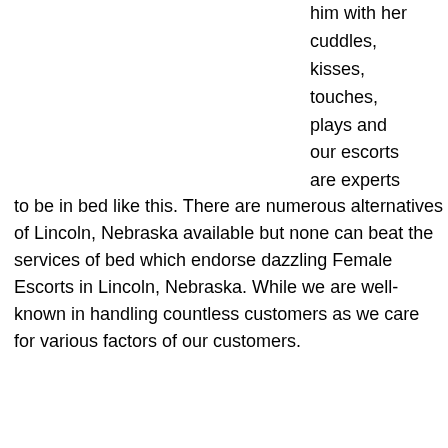him with her cuddles, kisses, touches, plays and our escorts are experts to be in bed like this. There are numerous alternatives of Lincoln, Nebraska available but none can beat the services of bed which endorse dazzling Female Escorts in Lincoln, Nebraska. While we are well-known in handling countless customers as we care for various factors of our customers.